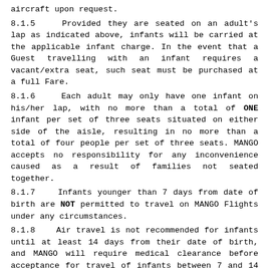8.1.5    Provided they are seated on an adult's lap as indicated above, infants will be carried at the applicable infant charge. In the event that a Guest travelling with an infant requires a vacant/extra seat, such seat must be purchased at a full Fare.
8.1.6    Each adult may only have one infant on his/her lap, with no more than a total of ONE infant per set of three seats situated on either side of the aisle, resulting in no more than a total of four people per set of three seats. MANGO accepts no responsibility for any inconvenience caused as a result of families not seated together.
8.1.7    Infants younger than 7 days from date of birth are NOT permitted to travel on MANGO Flights under any circumstances.
8.1.8    Air travel is not recommended for infants until at least 14 days from their date of birth, and MANGO will require medical clearance before acceptance for travel of infants between 7 and 14 days old.
8.1.9    MANGO will not be liable for any injury, loss or expense incurred as a result of infants travelling before 14 days of date of his/her birth.
8.1.10    No MANGO employee or authorised agent (including the crew) is permitted to handle and/or hold infants on behalf